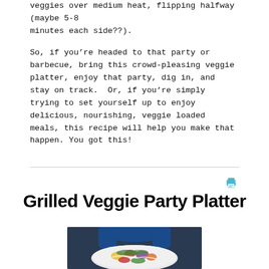veggies over medium heat, flipping halfway (maybe 5-8 minutes each side??).
So, if you’re headed to that party or barbecue, bring this crowd-pleasing veggie platter, enjoy that party, dig in, and stay on track.  Or, if you’re simply trying to set yourself up to enjoy delicious, nourishing, veggie loaded meals, this recipe will help you make that happen. You got this!
Grilled Veggie Party Platter
[Figure (photo): Person holding a large white platter filled with grilled vegetables including colorful peppers, onions, and garnished with herbs]